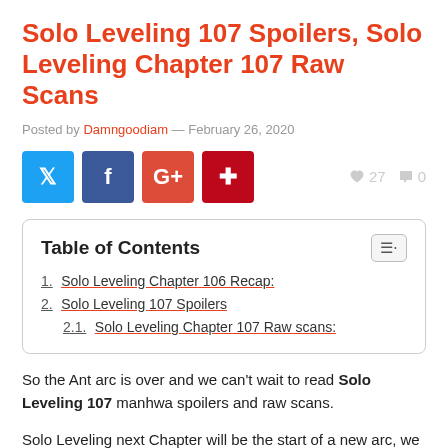Solo Leveling 107 Spoilers, Solo Leveling Chapter 107 Raw Scans
Posted by Damngoodiam — February 26, 2020
[Figure (infographic): Social media share buttons: Twitter (blue), Facebook (dark blue), Google+ (red-orange), Pinterest (dark red). Like count: 27, Comment count: 0.]
| 1. Solo Leveling Chapter 106 Recap: |
| 2. Solo Leveling 107 Spoilers |
| 2.1. Solo Leveling Chapter 107 Raw scans: |
So the Ant arc is over and we can't wait to read Solo Leveling 107 manhwa spoilers and raw scans.
Solo Leveling next Chapter will be the start of a new arc, we are currently in the epilogue of the Jeju Island Raid